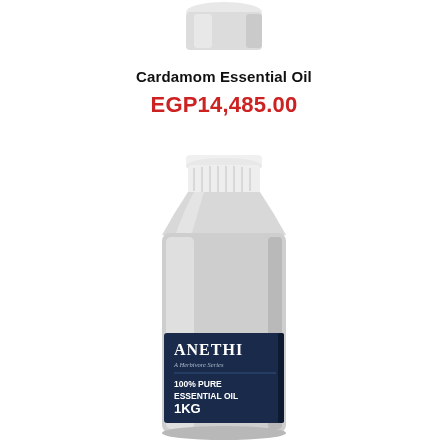[Figure (photo): Aluminum bottle with white cap partially visible at top of page — Anethi brand essential oil container]
Cardamom Essential Oil
EGP14,485.00
[Figure (photo): Full aluminum 1kg bottle with white screw cap and dark navy label reading ANETHI, 100% Pure Essential Oil, 1KG]